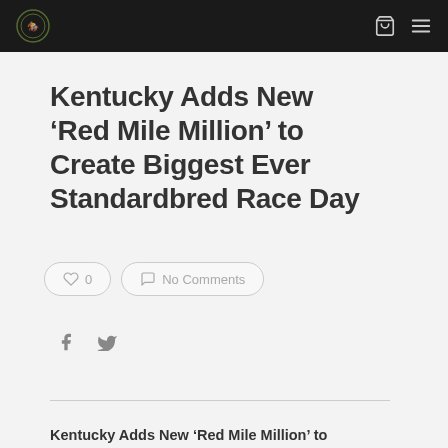Navigation bar with logo and icons
Kentucky Adds New ‘Red Mile Million’ to Create Biggest Ever Standardbred Race Day
0   No Comments
f   
Kentucky Adds New ‘Red Mile Million’ to